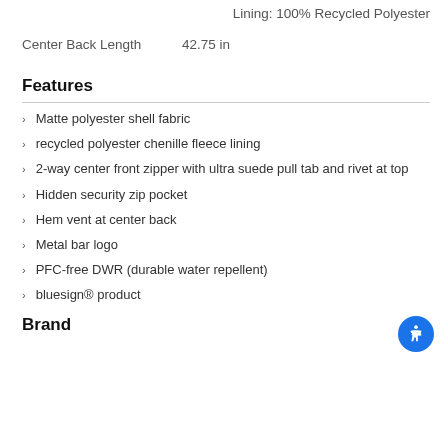Lining: 100% Recycled Polyester
Center Back Length    42.75 in
Features
Matte polyester shell fabric
recycled polyester chenille fleece lining
2-way center front zipper with ultra suede pull tab and rivet at top
Hidden security zip pocket
Hem vent at center back
Metal bar logo
PFC-free DWR (durable water repellent)
bluesign® product
Brand